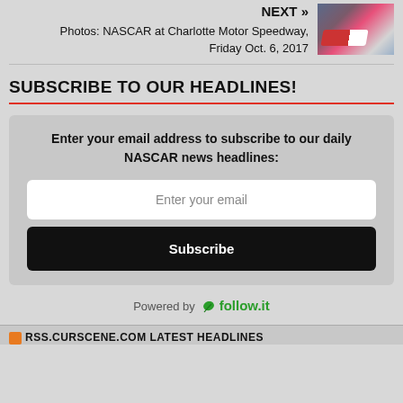NEXT »
Photos: NASCAR at Charlotte Motor Speedway, Friday Oct. 6, 2017
[Figure (photo): Thumbnail photo of a NASCAR race car on track at Charlotte Motor Speedway]
SUBSCRIBE TO OUR HEADLINES!
Enter your email address to subscribe to our daily NASCAR news headlines:
Enter your email
Subscribe
Powered by follow.it
RSS.CURSCENE.COM LATEST HEADLINES